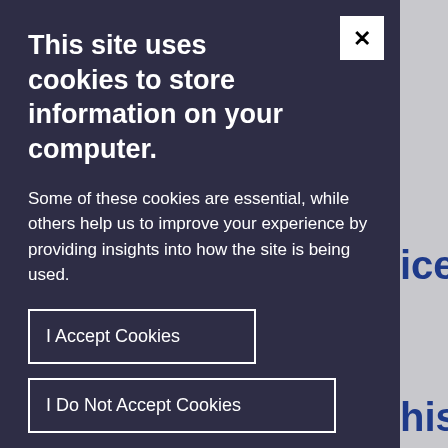This site uses cookies to store information on your computer.
Some of these cookies are essential, while others help us to improve your experience by providing insights into how the site is being used.
I Accept Cookies
I Do Not Accept Cookies
Necessary Cookies
ecessary cookies enable core functionality such as navigation and access to secure areas.